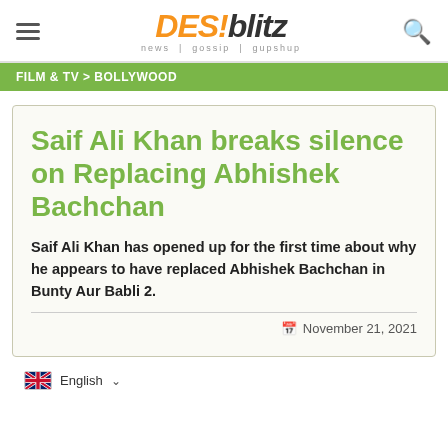DESIblitz — news | gossip | gupshup
FILM & TV > BOLLYWOOD
Saif Ali Khan breaks silence on Replacing Abhishek Bachchan
Saif Ali Khan has opened up for the first time about why he appears to have replaced Abhishek Bachchan in Bunty Aur Babli 2.
November 21, 2021
English